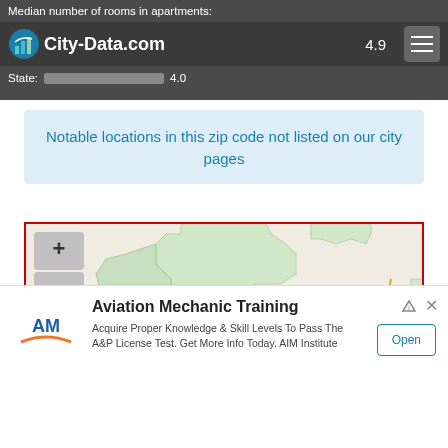Median number of rooms in apartments: Here: 4.9 State: 4.0
Notable locations in this zip code not listed on our city pages
[Figure (map): Map showing a zip code region with blue boundary lines indicating a zip code area near Spray and Monument, Long Creek visible. Green shaded regions indicate city/county areas. Zoom in/out controls visible. Red border around map.]
Aviation Mechanic Training
Acquire Proper Knowledge & Skill Levels To Pass The A&P License Test. Get More Info Today. AIM Institute